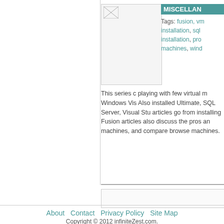[Figure (photo): Small broken/placeholder image icon in top-left of article block]
MISCELLAN
Tags: fusion, vm installation, sql installation, pro machines, wind
This series c playing with few virtual m Windows Vis Also installed Ultimate, SQL Server, Visual Stu articles go from installing Fusion articles also discuss the pros an machines, and compare browse machines.
About  Contact  Privacy Policy  Site Map
Copyright © 2012 infiniteZest.com.